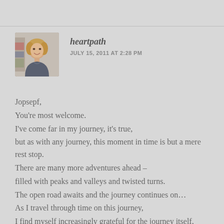[Figure (photo): Profile photo of a smiling woman with blonde hair]
heartpath
JULY 15, 2011 AT 2:28 PM
Jopsepf,
You're most welcome.
I've come far in my journey, it's true,
but as with any journey, this moment in time is but a mere rest stop.
There are many more adventures ahead –
filled with peaks and valleys and twisted turns.
The open road awaits and the journey continues on…
As I travel through time on this journey,
I find myself increasingly grateful for the journey itself,
including those I journey with.
Namaste, my friend,